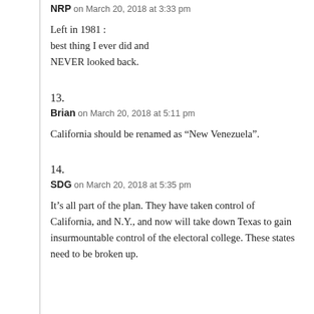NRP on March 20, 2018 at 3:33 pm
Left in 1981 
best thing I ever did and 
NEVER looked back.
13.
Brian on March 20, 2018 at 5:11 pm
California should be renamed as “New Venezuela”.
14.
SDG on March 20, 2018 at 5:35 pm
It’s all part of the plan. They have taken control of California, and N.Y., and now will take down Texas to gain insurmountable control of the electoral college. These states need to be broken up.